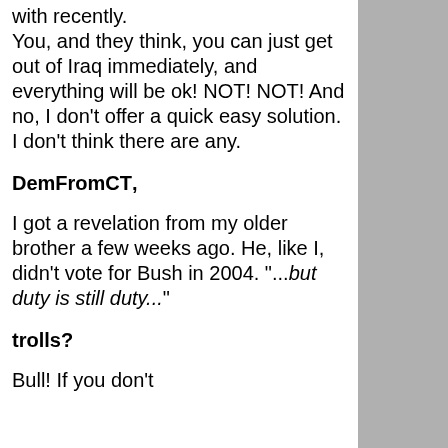with recently. You, and they think, you can just get out of Iraq immediately, and everything will be ok! NOT! NOT! And no, I don't offer a quick easy solution. I don't think there are any.
DemFromCT,
I got a revelation from my older brother a few weeks ago. He, like I, didn't vote for Bush in 2004. "...but duty is still duty..."
trolls?
Bull! If you don't